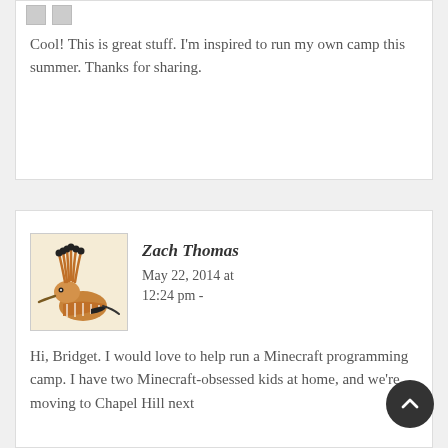Cool! This is great stuff. I'm inspired to run my own camp this summer. Thanks for sharing.
Zach Thomas
May 22, 2014 at 12:24 pm -
Hi, Bridget. I would love to help run a Minecraft programming camp. I have two Minecraft-obsessed kids at home, and we're moving to Chapel Hill next
[Figure (illustration): Avatar image of a hoopoe bird with decorative crest feathers on a light beige background]